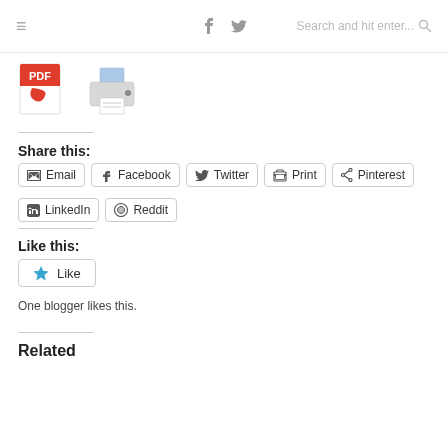≡  f  🐦  Search and hit enter...
[Figure (illustration): PDF document icon and printer icon]
Share this:
Email
Facebook
Twitter
Print
Pinterest
LinkedIn
Reddit
Like this:
Like
One blogger likes this.
Related